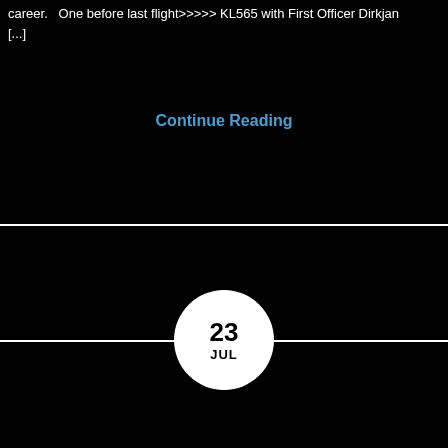career.   One before last flight>>>>> KL565 with First Officer Dirkjan [...]
Continue Reading
[Figure (other): Date badge circle showing '23 JUL' on a white circular background, centered horizontally, straddling a white horizontal divider line against a black background]